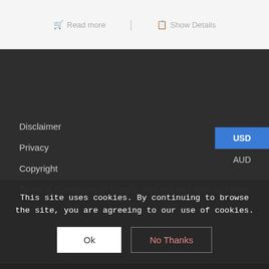[Figure (screenshot): Top light grey bar with 'Read more' and 'Show Details' buttons in grey text with icons]
Disclaimer
Privacy
Copyright
Terms & Conditions of Supply. Returns and Refund Policy.
USD
AUD
This site uses cookies. By continuing to browse the site, you are agreeing to our use of cookies.
Ok
No Thanks
CONTACT
East Coast (Hea...
24/9 Prowells Road